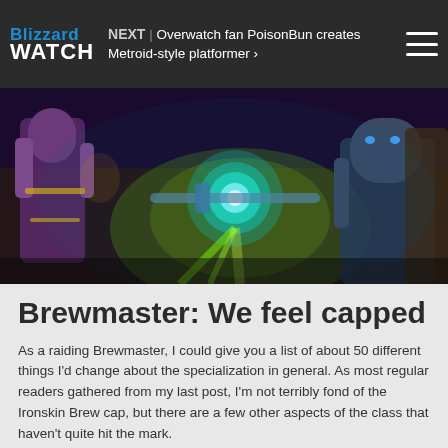Blizzard WATCH | NEXT | Overwatch fan PoisonBun creates Metroid-style platformer
[Figure (photo): World of Warcraft game screenshot showing Brewmaster monk character in combat with glowing teal and green magical effects, purple armored figures visible in background]
Brewmaster: We feel capped
As a raiding Brewmaster, I could give you a list of about 50 different things I'd change about the specialization in general. As most regular readers gathered from my last post, I'm not terribly fond of the Ironskin Brew cap, but there are a few other aspects of the class that haven't quite hit the mark.